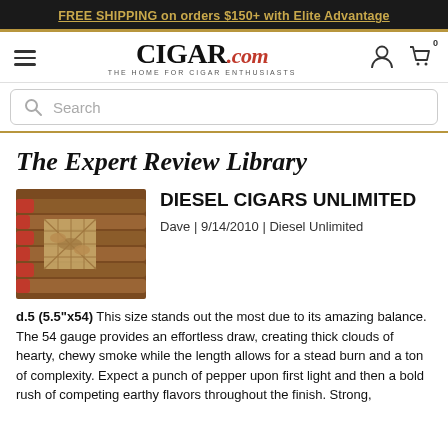FREE SHIPPING on orders $150+ with Elite Advantage
[Figure (logo): CIGAR.com logo with tagline THE HOME FOR CIGAR ENTHUSIASTS, plus hamburger menu, user icon, and cart icon with badge 0]
[Figure (other): Search bar with magnifying glass icon and placeholder text 'Search']
The Expert Review Library
[Figure (photo): Photo of Diesel Unlimited cigars in a box with burlap ribbon detail]
DIESEL CIGARS UNLIMITED
Dave | 9/14/2010 | Diesel Unlimited
d.5 (5.5"x54) This size stands out the most due to its amazing balance. The 54 gauge provides an effortless draw, creating thick clouds of hearty, chewy smoke while the length allows for a stead burn and a ton of complexity. Expect a punch of pepper upon first light and then a bold rush of competing earthy flavors throughout the finish. Strong,